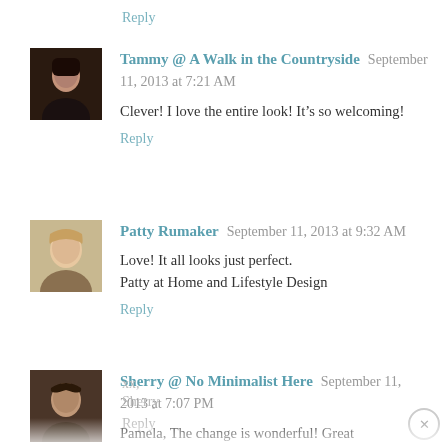Reply
Tammy @ A Walk in the Countryside  September 11, 2013 at 7:21 AM
Clever! I love the entire look! It’s so welcoming!
Reply
Patty Rumaker  September 11, 2013 at 9:32 AM
Love! It all looks just perfect.
Patty at Home and Lifestyle Design
Reply
Sherry @ No Minimalist Here  September 11, 2013 at 7:07 PM
Pamela, The change is wonderful! Great transformation.
xx,
Sherry
Reply